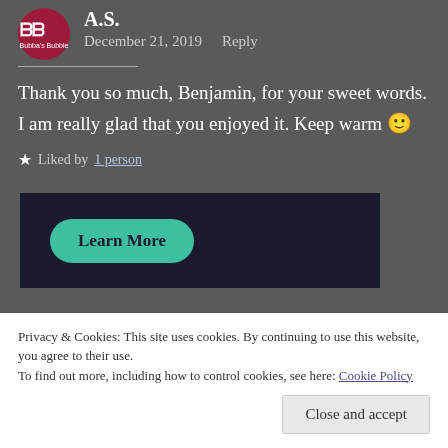A.S.
December 21, 2019   Reply
Thank you so much, Benjamin, for your sweet words. I am really glad that you enjoyed it. Keep warm 🙂
★ Liked by 1 person
[Figure (other): Dark banner with a teal 'Learn More' pill button]
Privacy & Cookies: This site uses cookies. By continuing to use this website, you agree to their use.
To find out more, including how to control cookies, see here: Cookie Policy
Close and accept